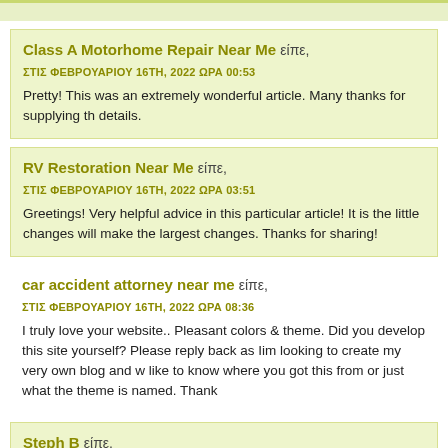Class A Motorhome Repair Near Me είπε,
ΣΤΙΣ ΦΕΒΡΟΥΑΡΙΟΥ 16TH, 2022 ΩΡΑ 00:53
Pretty! This was an extremely wonderful article. Many thanks for supplying these details.
RV Restoration Near Me είπε,
ΣΤΙΣ ΦΕΒΡΟΥΑΡΙΟΥ 16TH, 2022 ΩΡΑ 03:51
Greetings! Very helpful advice in this particular article! It is the little changes will make the largest changes. Thanks for sharing!
car accident attorney near me είπε,
ΣΤΙΣ ΦΕΒΡΟΥΑΡΙΟΥ 16TH, 2022 ΩΡΑ 08:36
I truly love your website.. Pleasant colors & theme. Did you develop this site yourself? Please reply back as Iim looking to create my very own blog and would like to know where you got this from or just what the theme is named. Thank
Steph B είπε,
ΣΤΙΣ ΦΕΒΡΟΥΑΡΙΟΥ 16TH, 2022 ΩΡΑ 12:34